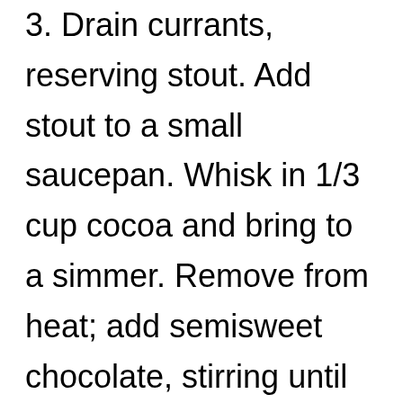3. Drain currants, reserving stout. Add stout to a small saucepan. Whisk in 1/3 cup cocoa and bring to a simmer. Remove from heat; add semisweet chocolate, stirring until chocolate melts. Cool slightly. Stir in butter, milk…